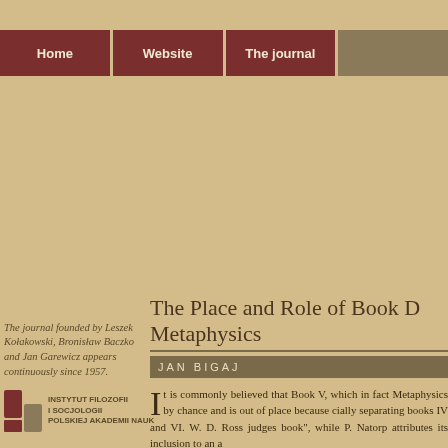Home | Website | The journal
The journal founded by Leszek Kołakowski, Bronisław Baczko and Jan Garewicz appears continuously since 1957.
[Figure (logo): Instytut Filozofii i Socjologii Polskiej Akademii Nauk logo]
The Place and Role of Book D Metaphysics
JAN BIGAJ
It is commonly believed that Book V, which in fact Metaphysics by chance and is out of place because cially separating books IV and VI. W. D. Ross judges book", while P. Natorp attributes its inclusion to an a